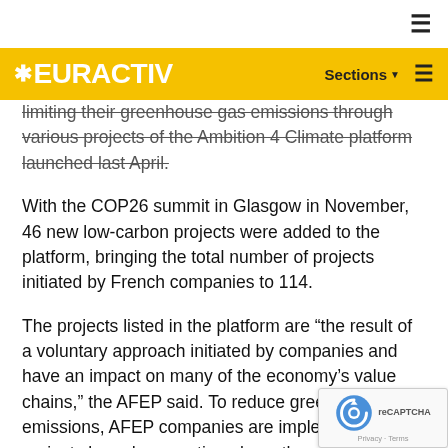EURACTIV — Sections
limiting their greenhouse gas emissions through various projects of the Ambition 4 Climate platform launched last April.
With the COP26 summit in Glasgow in November, 46 new low-carbon projects were added to the platform, bringing the total number of projects initiated by French companies to 114.
The projects listed in the platform are “the result of a voluntary approach initiated by companies and have an impact on many of the economy’s value chains,” the AFEP said. To reduce greenhouse gas emissions, AFEP companies are implementing projects based on s action plans, the most important of which conce energy-related issues.